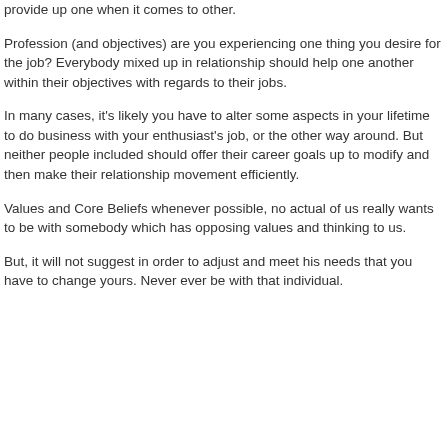provide up one when it comes to other.
Profession (and objectives) are you experiencing one thing you desire for the job? Everybody mixed up in relationship should help one another within their objectives with regards to their jobs.
In many cases, it's likely you have to alter some aspects in your lifetime to do business with your enthusiast's job, or the other way around. But neither people included should offer their career goals up to modify and then make their relationship movement efficiently.
Values and Core Beliefs whenever possible, no actual of us really wants to be with somebody which has opposing values and thinking to us.
But, it will not suggest in order to adjust and meet his needs that you have to change yours. Never ever be with that individual.